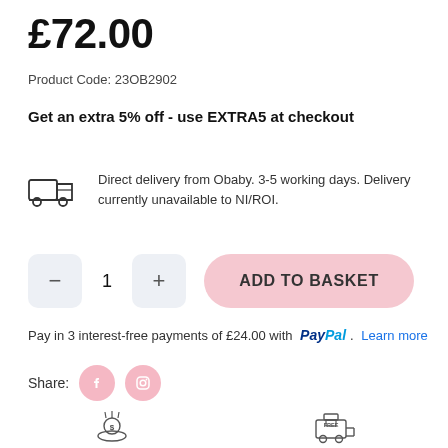£72.00
Product Code: 23OB2902
Get an extra 5% off - use EXTRA5 at checkout
Direct delivery from Obaby. 3-5 working days. Delivery currently unavailable to NI/ROI.
ADD TO BASKET
Pay in 3 interest-free payments of £24.00 with PayPal. Learn more
Share:
FLEXIBLE PAYMENTS
STILL HERE FOR YOU